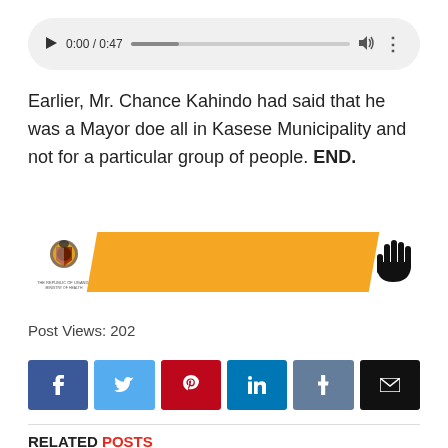[Figure (screenshot): Audio player showing 0:00 / 0:47 with play button, progress bar, volume icon, and more options icon on a light grey rounded rectangle background]
Earlier, Mr. Chance Kahindo had said that he was a Mayor doe all in Kasese Municipality and not for a particular group of people. END.
[Figure (infographic): Uganda Ministry of Health banner with coat of arms logo on the left, an orange parallelogram/ribbon shape in the center, and a black hand/stop sign icon on the right]
Post Views: 202
[Figure (infographic): Social media share buttons row: Facebook (blue), Twitter (light blue), Pinterest (red), LinkedIn (dark teal), Tumblr (grey-blue), Email (black)]
RELATED POSTS